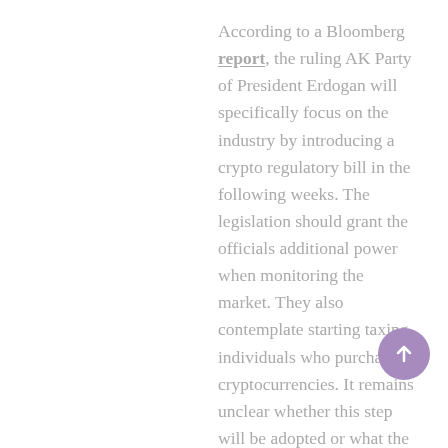According to a Bloomberg report, the ruling AK Party of President Erdogan will specifically focus on the industry by introducing a crypto regulatory bill in the following weeks. The legislation should grant the officials additional power when monitoring the market. They also contemplate starting taxing individuals who purchase cryptocurrencies. It remains unclear whether this step will be adopted or what the tax percentage will be.
[Figure (other): Purple circular scroll-to-top button with upward arrow icon]